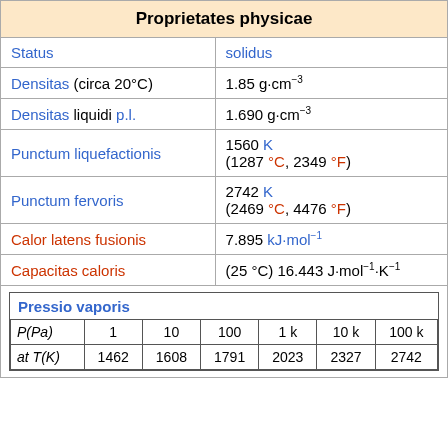| Property | Value |
| --- | --- |
| Proprietates physicae |  |
| Status | solidus |
| Densitas (circa 20°C) | 1.85 g·cm⁻³ |
| Densitas liquidi p.l. | 1.690 g·cm⁻³ |
| Punctum liquefactionis | 1560 K (1287 °C, 2349 °F) |
| Punctum fervoris | 2742 K (2469 °C, 4476 °F) |
| Calor latens fusionis | 7.895 kJ·mol⁻¹ |
| Capacitas caloris | (25 °C) 16.443 J·mol⁻¹·K⁻¹ |
| P(Pa) | 1 | 10 | 100 | 1 k | 10 k | 100 k |
| --- | --- | --- | --- | --- | --- | --- |
| at T(K) | 1462 | 1608 | 1791 | 2023 | 2327 | 2742 |